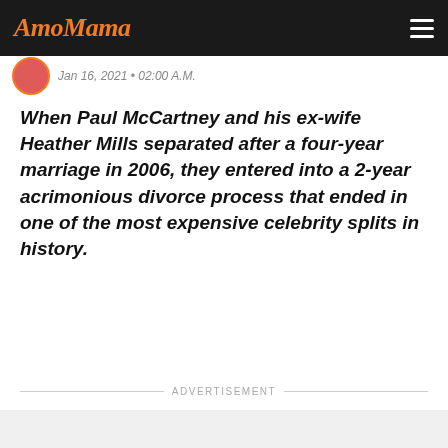AmoMama
Jan 16, 2021 • 02:00 A.M.
When Paul McCartney and his ex-wife Heather Mills separated after a four-year marriage in 2006, they entered into a 2-year acrimonious divorce process that ended in one of the most expensive celebrity splits in history.
ADVERTISEMENT